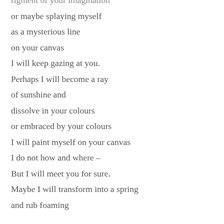rigment of your imagination
or maybe splaying myself
as a mysterious line
on your canvas
I will keep gazing at you.
Perhaps I will become a ray
of sunshine and
dissolve in your colours
or embraced by your colours
I will paint myself on your canvas
I do not how and where –
But I will meet you for sure.
Maybe I will transform into a spring
and rub foaming